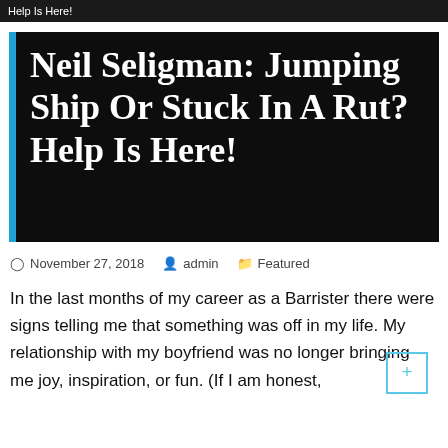Help Is Here!
Neil Seligman: Jumping Ship Or Stuck In A Rut? Help Is Here!
November 27, 2018   admin   Featured
In the last months of my career as a Barrister there were signs telling me that something was off in my life. My relationship with my boyfriend was no longer bringing me joy, inspiration, or fun. (If I am honest,